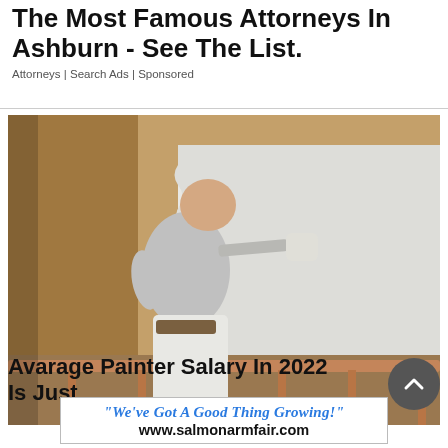The Most Famous Attorneys In Ashburn - See The List.
Attorneys | Search Ads | Sponsored
[Figure (photo): A bald man in a gray t-shirt and white pants painting a wall with a paint roller. He is seen from behind in a room with tan walls, painting a section white. There is a wooden railing visible in the lower portion of the image.]
Avarage Painter Salary In 2022 Is Just
[Figure (other): Advertisement banner reading: "We've Got A Good Thing Growing!" www.salmonarmfair.com]